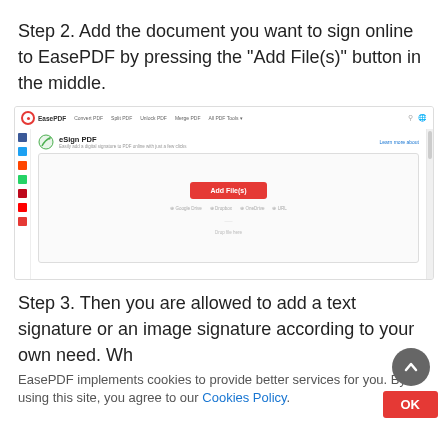Step 2. Add the document you want to sign online to EasePDF by pressing the "Add File(s)" button in the middle.
[Figure (screenshot): Screenshot of EasePDF website showing the eSign PDF tool page with a red 'Add File(s)' button in the center of the upload area, navigation bar at top, and social share icons on the left side.]
Step 3. Then you are allowed to add a text signature or an image signature according to your own need. Wh
EasePDF implements cookies to provide better services for you. By using this site, you agree to our Cookies Policy.